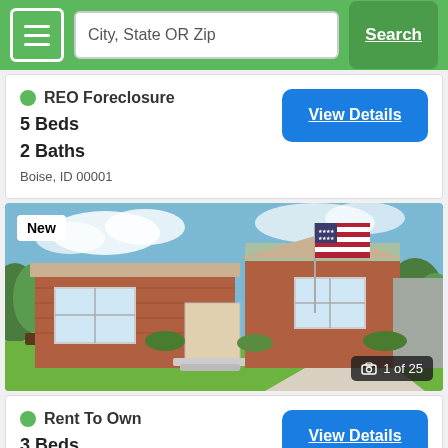City, State OR Zip | Search
REO Foreclosure
5 Beds
2 Baths
Boise, ID 00001
[Figure (photo): Exterior photo of a single-story brick ranch house with an American flag, green lawn, sunny day. Badge: New. Photo counter: 1 of 25.]
Rent To Own
3 Beds
2 Baths